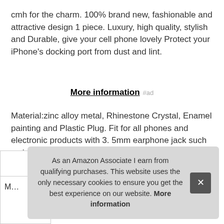cmh for the charm. 100% brand new, fashionable and attractive design 1 piece. Luxury, high quality, stylish and Durable, give your cell phone lovely Protect your iPhone's docking port from dust and lint.
More information #ad
Material:zinc alloy metal, Rhinestone Crystal, Enamel painting and Plastic Plug. Fit for all phones and electronic products with 3. 5mm earphone jack such as iphone 4-11 and Plus IPad iPod Huawei MI Samsung GALAXY and other 3. 5mm ear jack cell phone.
As an Amazon Associate I earn from qualifying purchases. This website uses the only necessary cookies to ensure you get the best experience on our website. More information